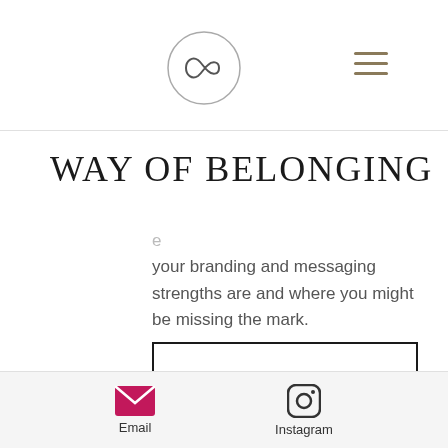[Figure (logo): Way of Belonging logo — infinity symbol inside a circle]
WAY OF BELONGING
your branding and messaging strengths are and where you might be missing the mark.
HOW WE'LL WORK TOGETHER
PHASE 1
[Figure (infographic): Email icon (envelope) with label Email and Instagram icon with label Instagram in bottom toolbar]